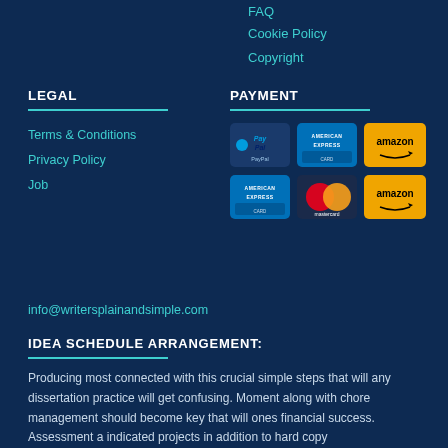FAQ
Cookie Policy
Copyright
LEGAL
Terms & Conditions
Privacy Policy
Job
PAYMENT
[Figure (infographic): Payment method badges: PayPal, American Express (teal), Amazon (gold), American Express (teal), Mastercard, Amazon (gold)]
info@writersplainandsimple.com
IDEA SCHEDULE ARRANGEMENT:
Producing most connected with this crucial simple steps that will any dissertation practice will get confusing. Moment along with chore management should become key that will ones financial success. Assessment a indicated projects in addition to hard copy